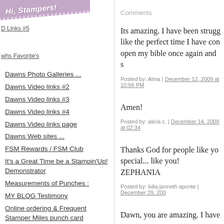[Figure (illustration): Purple ribbon banner with text 'Hi, Stampers!' overlaid on top-left corner of the page]
Blogging
D Links #5
whs Favorite's
Dawns Photo Galleries ...
Dawns Video links #2
Dawns Video links #3
Dawns Video links #4
Dawns Video links page
Dawns Web sites ...
FSM Rewards / FSM Club
It's a Great Time be a Stampin'Up! Demonstrator
Measurements of Punches :
MY BLOG Testimony
Online ordering & Frequent Stamper Miles punch card
Comments
Its amazing. I have been strugg like the perfect time I have con open my bible once again and s
Posted by: Alma | December 12, 2009 at 10:56 PM
Amen!
Posted by: alicia c. | December 14, 2009 at 02:34
Thanks God for people like yo special... like you! ZEPHANIA
Posted by: lidia janneth aponte | December 29, 200
Dawn, you are amazing. I have